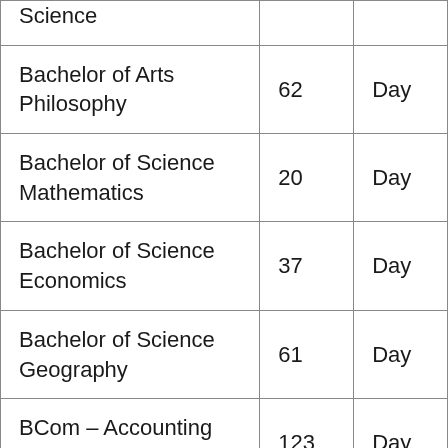| Science |  |  |
| Bachelor of Arts Philosophy | 62 | Day |
| Bachelor of Science Mathematics | 20 | Day |
| Bachelor of Science Economics | 37 | Day |
| Bachelor of Science Geography | 61 | Day |
| BCom – Accounting and | 123 | Day |